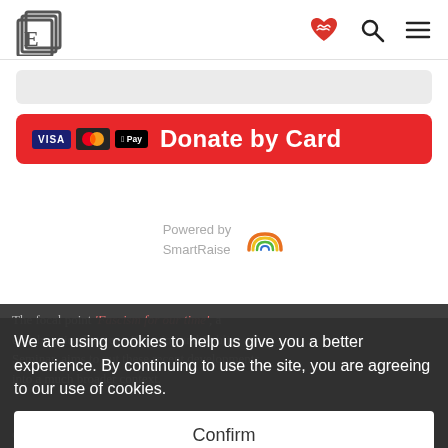E logo | heart icon | search icon | menu icon
[Figure (screenshot): Gray bar input field placeholder]
[Figure (screenshot): Red Donate by Card button with Visa, Mastercard, Apple Pay icons]
Powered by SmartRaise
The focal point ‘Fascism for our time’, a collaboration between Eurozine and Public Seminar, aims to put these recent developments into a much broader context.
We are using cookies to help us give you a better experience. By continuing to use the site, you are agreeing to our use of cookies.
Confirm
conversations between James Miller at Public